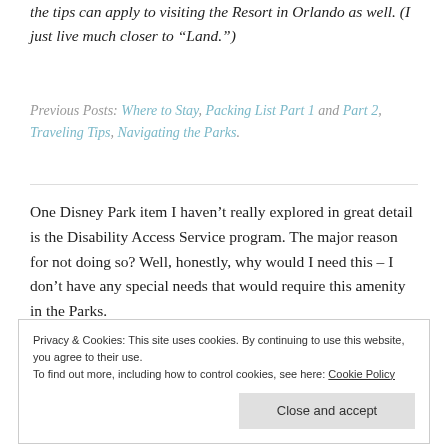the tips can apply to visiting the Resort in Orlando as well. (I just live much closer to “Land.”)
Previous Posts: Where to Stay, Packing List Part 1 and Part 2, Traveling Tips, Navigating the Parks.
One Disney Park item I haven’t really explored in great detail is the Disability Access Service program. The major reason for not doing so? Well, honestly, why would I need this – I don’t have any special needs that would require this amenity in the Parks.
Privacy & Cookies: This site uses cookies. By continuing to use this website, you agree to their use. To find out more, including how to control cookies, see here: Cookie Policy